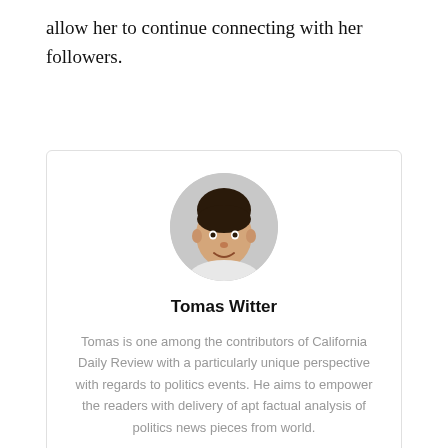allow her to continue connecting with her followers.
[Figure (illustration): Circular headshot photo of Tomas Witter, a young man with dark hair, smiling, against a light gray background.]
Tomas Witter
Tomas is one among the contributors of California Daily Review with a particularly unique perspective with regards to politics events. He aims to empower the readers with delivery of apt factual analysis of politics news pieces from world.